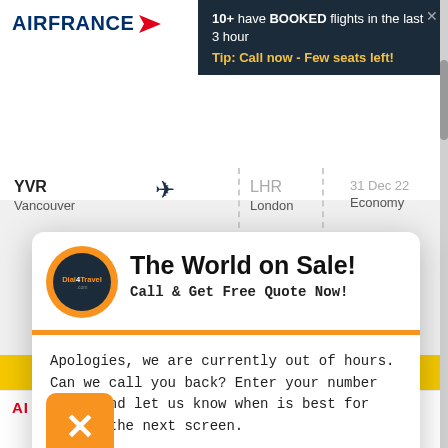[Figure (screenshot): Air France website header with logo top left]
10+ have BOOKED flights in the last 3 hour
Tip: Call now - Few seats left!
YVR
Vancouver
LHR
London
31 Dec 22
Economy
[Figure (screenshot): Dial4Travel popup overlay with 'The World on Sale!' heading, callback form, and Schedule Callback button]
The World on Sale!
Call & Get Free Quote Now!
Apologies, we are currently out of hours. Can we call you back? Enter your number below and let us know when is best for you on the next screen.
+1   Enter your number
Schedule Callback
[Figure (logo): Air Canada logo with maple leaf, partial view at bottom]
[Figure (infographic): Orange X close button overlay]